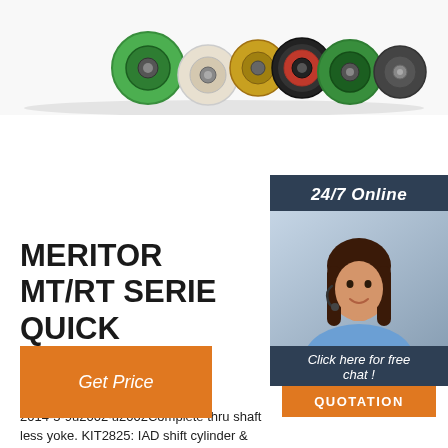[Figure (photo): Various colored bearings and rollers arranged at top of page]
[Figure (photo): 24/7 Online chat widget with woman wearing headset, dark blue background, orange QUOTATION button]
MERITOR MT/RT SERIES QUICK REFERENCE GUIDE
2014-5-9u2002·u2002Complete thru shaft less yoke. KIT2825: IAD shift cylinder & pi... All models: Rear A3226N1236: Pinion bea... cage assy 1865 carriers: ... Bearing and se... Rear DCDL, non DCDL 1708, 1823, 1892, ... carriers; KIT4415 Bearing and seal kit; ...
[Figure (other): Orange 'Get Price' button]